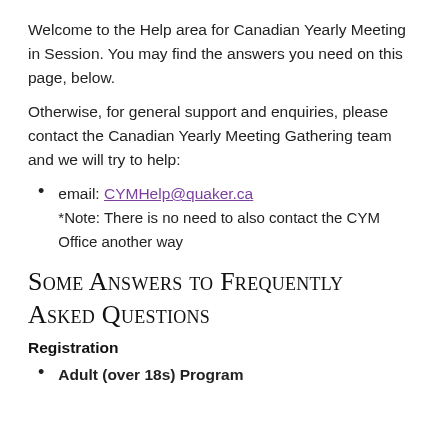Welcome to the Help area for Canadian Yearly Meeting in Session. You may find the answers you need on this page, below.
Otherwise, for general support and enquiries, please contact the Canadian Yearly Meeting Gathering team and we will try to help:
email: CYMHelp@quaker.ca
*Note: There is no need to also contact the CYM Office another way
Some Answers to Frequently Asked Questions
Registration
Adult (over 18s) Program